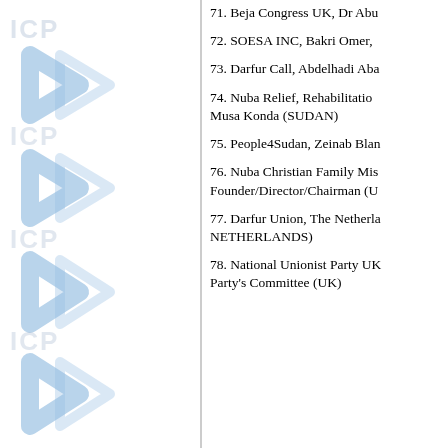71. Beja Congress UK, Dr Abu
72. SOESA INC, Bakri Omer,
73. Darfur Call, Abdelhadi Aba
74. Nuba Relief, Rehabilitation, Musa Konda (SUDAN)
75. People4Sudan, Zeinab Blan
76. Nuba Christian Family Mis, Founder/Director/Chairman (U
77. Darfur Union, The Netherlands, NETHERLANDS)
78. National Unionist Party UK, Party's Committee (UK)